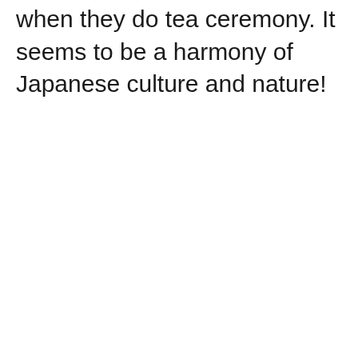when they do tea ceremony. It seems to be a harmony of Japanese culture and nature!